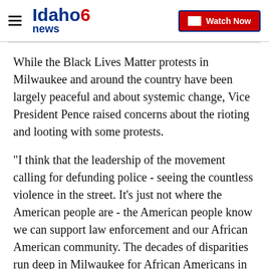Idaho News 6 | Watch Now
While the Black Lives Matter protests in Milwaukee and around the country have been largely peaceful and about systemic change, Vice President Pence raised concerns about the rioting and looting with some protests.
"I think that the leadership of the movement calling for defunding police - seeing the countless violence in the street. It's just not where the American people are - the American people know we can support law enforcement and our African American community. The decades of disparities run deep in Milwaukee for African Americans in areas of income and home